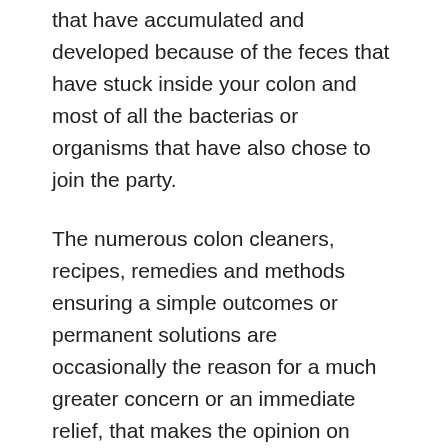that have accumulated and developed because of the feces that have stuck inside your colon and most of all the bacterias or organisms that have also chose to join the party.
The numerous colon cleaners, recipes, remedies and methods ensuring a simple outcomes or permanent solutions are occasionally the reason for a much greater concern or an immediate relief, that makes the opinion on colon detoxify occasionally different, as the result of the colon cleansers are not the same with each person. Hence, you will find people who considers colon cleansing a bad thing due to the negative outcomes, while those